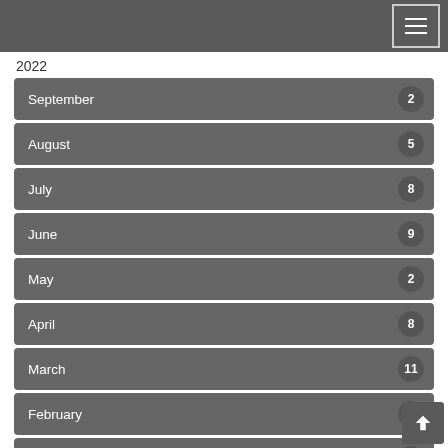Navigation menu header bar
2022
September 2
August 5
July 8
June 9
May 2
April 8
March 11
February 9
January 8
2021
December 4
November
October
September 11
August 7